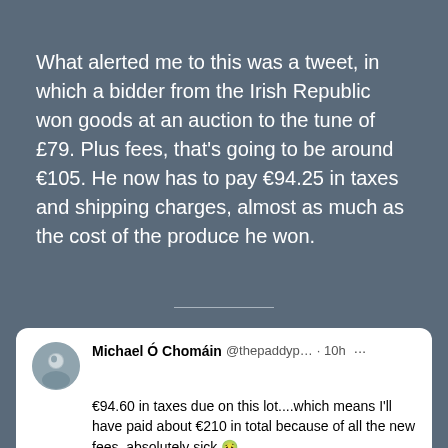What alerted me to this was a tweet, in which a bidder from the Irish Republic won goods at an auction to the tune of £79. Plus fees, that's going to be around €105. He now has to pay €94.25 in taxes and shipping charges, almost as much as the cost of the produce he won.
[Figure (screenshot): Screenshot of a tweet by Michael Ó Chomáin (@thepaddyp...) posted 10 hours ago. Tweet reads: '€94.60 in taxes due on this lot....which means I'll have paid about €210 in total because of all the new fees, absolutely sick 🤢

That's the end of using UK auction sites @Whisky_auction 😭😭

Brexit is a disaster.']